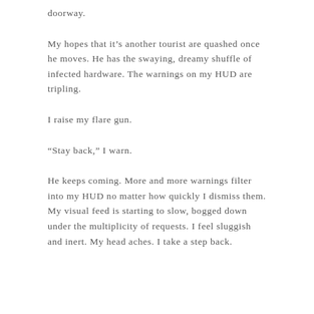doorway.
My hopes that it's another tourist are quashed once he moves. He has the swaying, dreamy shuffle of infected hardware. The warnings on my HUD are tripling.
I raise my flare gun.
“Stay back,” I warn.
He keeps coming. More and more warnings filter into my HUD no matter how quickly I dismiss them. My visual feed is starting to slow, bogged down under the multiplicity of requests. I feel sluggish and inert. My head aches. I take a step back.